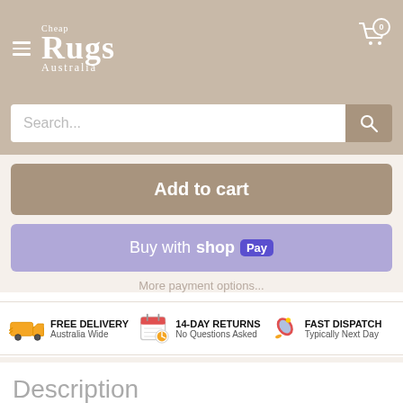[Figure (logo): Cheap Rugs Australia logo — white serif text on tan/beige background, with hamburger menu icon on left and shopping cart icon with 0 badge on right]
[Figure (screenshot): Search bar with placeholder text 'Search...' and a tan search button with magnifying glass icon]
Add to cart
Buy with shop Pay
More payment options...
FREE DELIVERY
Australia Wide
14-DAY RETURNS
No Questions Asked
FAST DISPATCH
Typically Next Day
Description